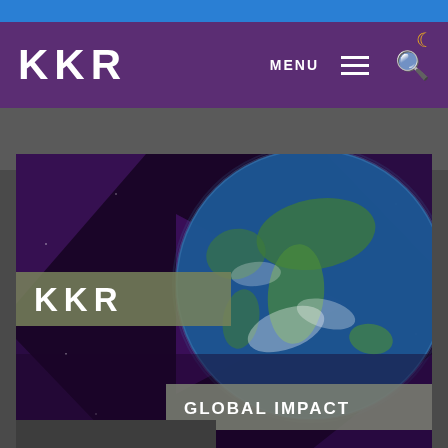KKR
[Figure (screenshot): KKR Global Impact video thumbnail showing Earth globe on dark purple background with geometric triangle shapes, KKR logo overlay on olive/gray banner, and GLOBAL IMPACT text on gray banner]
Global Impact